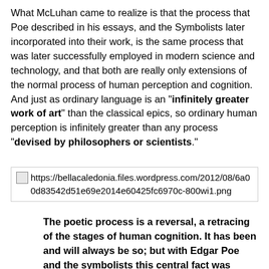What McLuhan came to realize is that the process that Poe described in his essays, and the Symbolists later incorporated into their work, is the same process that was later successfully employed in modern science and technology, and that both are really only extensions of the normal process of human perception and cognition. And just as ordinary language is an "infinitely greater work of art" than the classical epics, so ordinary human perception is infinitely greater than any process "devised by philosophers or scientists."
[Figure (other): Broken image placeholder with URL: https://bellacaledonia.files.wordpress.com/2012/08/6a00d83542d51e69e2014e60425fc6970c-800wi1.png]
The poetic process is a reversal, a retracing of the stages of human cognition. It has been and will always be so; but with Edgar Poe and the symbolists this central fact was taken up to the level of conscious awareness. It then became the basis of modern science and